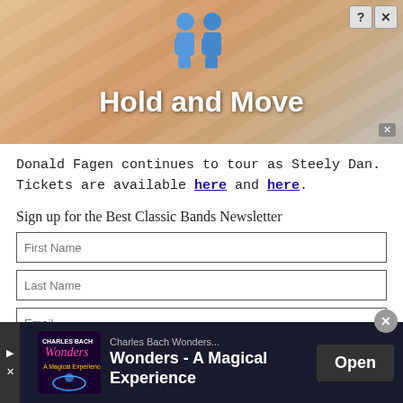[Figure (screenshot): Top advertisement banner with blue figures and 'Hold and Move' title on a striped background]
Donald Fagen continues to tour as Steely Dan. Tickets are available here and here.
Sign up for the Best Classic Bands Newsletter
First Name (form field)
Last Name (form field)
Email (form field)
Send (button)
[Figure (logo): Amazon US, Amazon UK, and Amazon logos with orange underline and book product images below]
[Figure (screenshot): Bottom advertisement banner: Charles Bach Wonders - A Magical Experience with Open button]